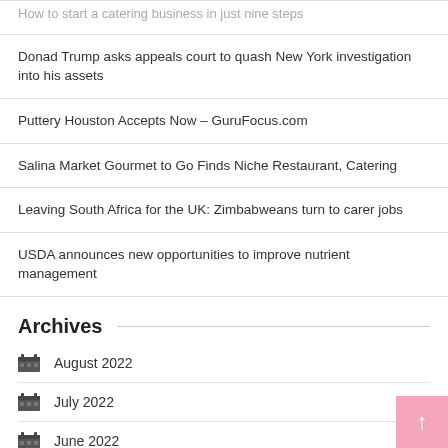How to start a catering business in just nine steps
Donad Trump asks appeals court to quash New York investigation into his assets
Puttery Houston Accepts Now – GuruFocus.com
Salina Market Gourmet to Go Finds Niche Restaurant, Catering
Leaving South Africa for the UK: Zimbabweans turn to carer jobs
USDA announces new opportunities to improve nutrient management
Archives
August 2022
July 2022
June 2022